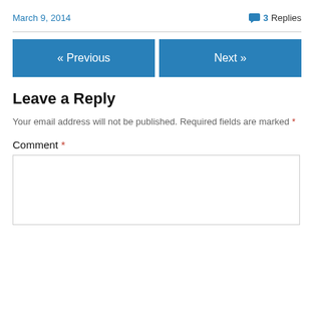March 9, 2014
3 Replies
« Previous
Next »
Leave a Reply
Your email address will not be published. Required fields are marked *
Comment *